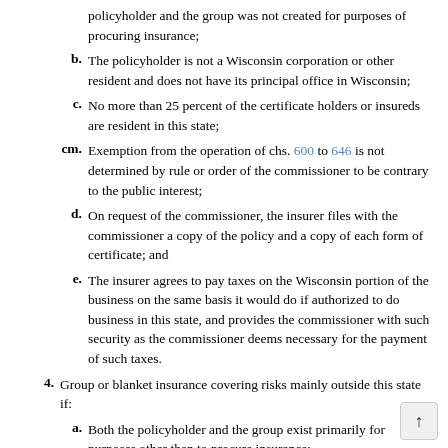policyholder and the group was not created for purposes of procuring insurance;
b. The policyholder is not a Wisconsin corporation or other resident and does not have its principal office in Wisconsin;
c. No more than 25 percent of the certificate holders or insureds are resident in this state;
cm. Exemption from the operation of chs. 600 to 646 is not determined by rule or order of the commissioner to be contrary to the public interest;
d. On request of the commissioner, the insurer files with the commissioner a copy of the policy and a copy of each form of certificate; and
e. The insurer agrees to pay taxes on the Wisconsin portion of the business on the same basis it would do if authorized to do business in this state, and provides the commissioner with such security as the commissioner deems necessary for the payment of such taxes.
4. Group or blanket insurance covering risks mainly outside this state if:
a. Both the policyholder and the group exist primarily for purposes other than to procure insurance;
am. The relationship or association between the policyholder and the group was not created for